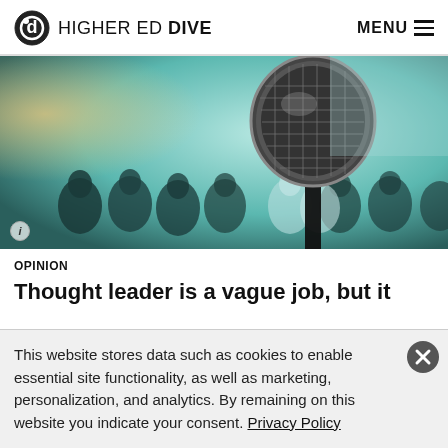HIGHER ED DIVE — MENU
[Figure (photo): Close-up of a microphone in the foreground with a blurred audience of people seated in a conference or lecture hall in the background. Teal/teal-blue color tone.]
OPINION
Thought leader is a vague job, but it
This website stores data such as cookies to enable essential site functionality, as well as marketing, personalization, and analytics. By remaining on this website you indicate your consent. Privacy Policy